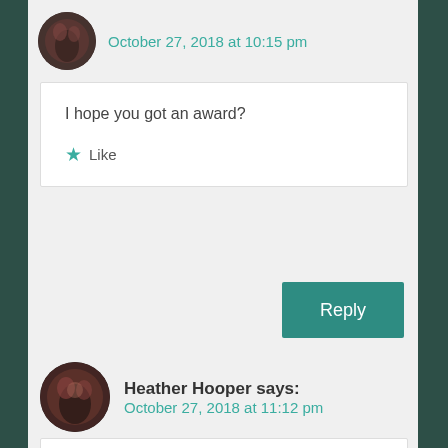October 27, 2018 at 10:15 pm
I hope you got an award?
★ Like
Reply
Heather Hooper says: October 27, 2018 at 11:12 pm
I hope you got an award?

I'm so sorry to hear what happened to you. I'm a survivor too, but was told, by the